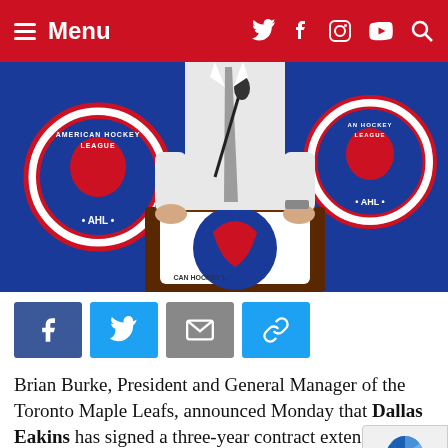Menu
[Figure (photo): Person in white shirt and grey tie standing at an American Hockey League (AHL) press conference podium with AHL logos visible in the background.]
Brian Burke, President and General Manager of the Toronto Maple Leafs, announced Monday that Dallas Eakins has signed a three-year contract extension to remain head coach of the Toronto Marlies of the American Hockey League (AHL).